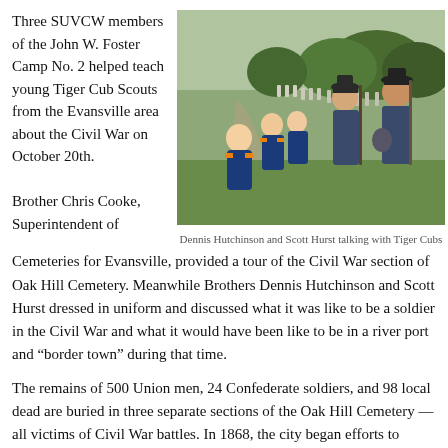Three SUVCW members of the John W. Foster Camp No. 2 helped teach young Tiger Cub Scouts from the Evansville area about the Civil War on October 20th.

Brother Chris Cooke, Superintendent of
[Figure (photo): Two men dressed in Civil War Union uniforms holding rifles, talking with a group of young Tiger Cub Scouts in a cemetery setting with rows of white grave markers in the background.]
Dennis Hutchinson and Scott Hurst talking with Tiger Cubs
Cemeteries for Evansville, provided a tour of the Civil War section of Oak Hill Cemetery. Meanwhile Brothers Dennis Hutchinson and Scott Hurst dressed in uniform and discussed what it was like to be a soldier in the Civil War and what it would have been like to be in a river port and “border town” during that time.
The remains of 500 Union men, 24 Confederate soldiers, and 98 local dead are buried in three separate sections of the Oak Hill Cemetery — all victims of Civil War battles. In 1868, the city began efforts to secure designation of the Union cemetery. A group of volunteers are currently working with the Cemetery board